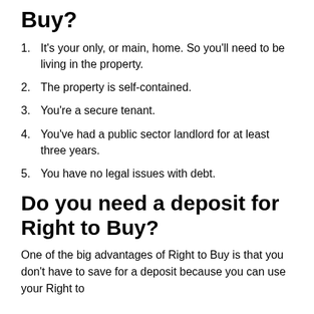Buy?
It's your only, or main, home. So you'll need to be living in the property.
The property is self-contained.
You're a secure tenant.
You've had a public sector landlord for at least three years.
You have no legal issues with debt.
Do you need a deposit for Right to Buy?
One of the big advantages of Right to Buy is that you don't have to save for a deposit because you can use your Right to